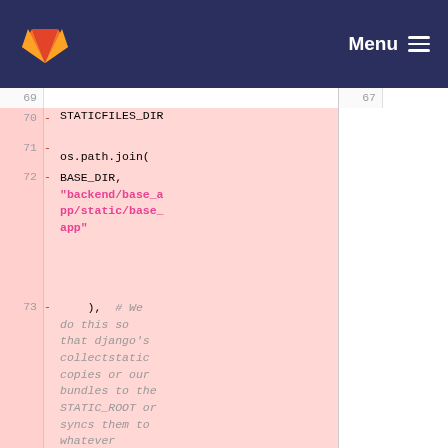[Figure (screenshot): GitLab navigation bar with orange/red fox logo on left and Menu hamburger icon on right, dark navy blue background]
Code diff view showing removed lines 69-73 on the left panel and line 67 on the right panel. Lines show STATICFILES_DIRS = (os.path.join(BASE_DIR, "backend/base_app/static/base_app"), # We do this so that django's collectstatic copies or our bundles to the STATIC_ROOT or syncs them to whatever storage we use.